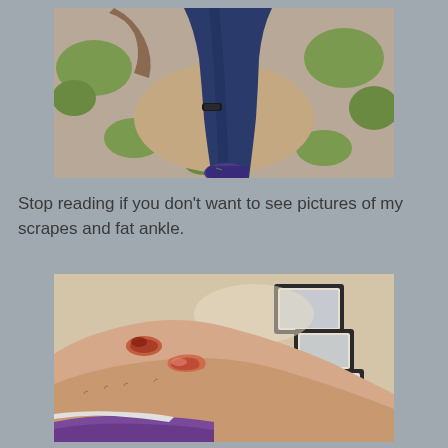[Figure (photo): A person's legs viewed from above, wearing dark jeans and a shoe, standing on patchy grass and dirt ground. A watch/bracelet visible on the ankle area.]
Stop reading if you don't want to see pictures of my scrapes and fat ankle.
[Figure (photo): Close-up photo of a scraped/injured arm or leg showing abrasions and road rash wounds. Framed pictures on a wall visible in the background.]